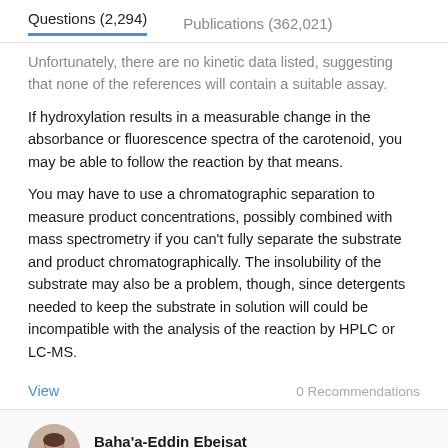Questions (2,294)    Publications (362,021)
Unfortunately, there are no kinetic data listed, suggesting that none of the references will contain a suitable assay.
If hydroxylation results in a measurable change in the absorbance or fluorescence spectra of the carotenoid, you may be able to follow the reaction by that means.
You may have to use a chromatographic separation to measure product concentrations, possibly combined with mass spectrometry if you can't fully separate the substrate and product chromatographically. The insolubility of the substrate may also be a problem, though, since detergents needed to keep the substrate in solution will could be incompatible with the analysis of the reaction by HPLC or LC-MS.
View    0 Recommendations
Baha'a-Eddin Ebeisat asked a question related to Biotechnology